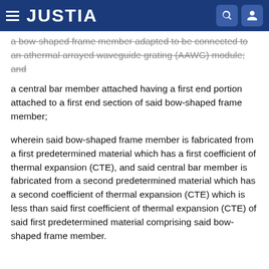JUSTIA
a bow-shaped frame member adapted to be connected to an athermal arrayed waveguide grating (AAWG) module; and
a central bar member attached having a first end portion attached to a first end section of said bow-shaped frame member;
wherein said bow-shaped frame member is fabricated from a first predetermined material which has a first coefficient of thermal expansion (CTE), and said central bar member is fabricated from a second predetermined material which has a second coefficient of thermal expansion (CTE) which is less than said first coefficient of thermal expansion (CTE) of said first predetermined material comprising said bow-shaped frame member.